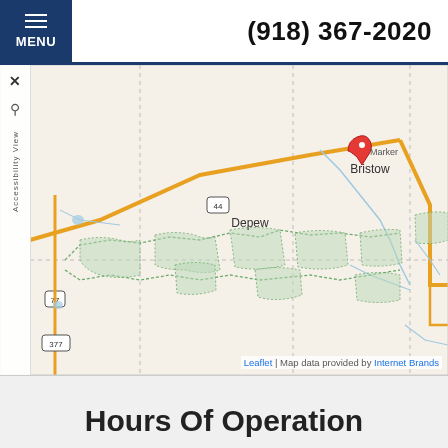MENU | (918) 367-2020
[Figure (map): Street/road map showing the area around Bristow, Oklahoma, including towns Depew and Stroud, highways 44, 77, and 377, and Creek Nation territory boundaries shown as dashed green outlines.]
Leaflet | Map data provided by Internet Brands
Hours Of Operation
Our Regular Schedule